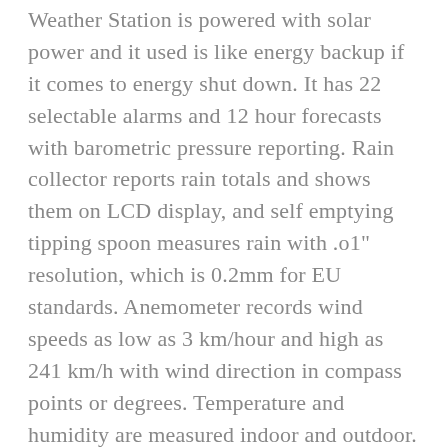Weather Station is powered with solar power and it used is like energy backup if it comes to energy shut down. It has 22 selectable alarms and 12 hour forecasts with barometric pressure reporting. Rain collector reports rain totals and shows them on LCD display, and self emptying tipping spoon measures rain with .o1" resolution, which is 0.2mm for EU standards. Anemometer records wind speeds as low as 3 km/hour and high as 241 km/h with wind direction in compass points or degrees. Temperature and humidity are measured indoor and outdoor. It provides outsides temperature reading from -40°F to 150°F, and humidity from 0 to 100%. All of these information you can read on backlit 3 by 4.375-inch LCD display with a glow-in-the-dark keypad.